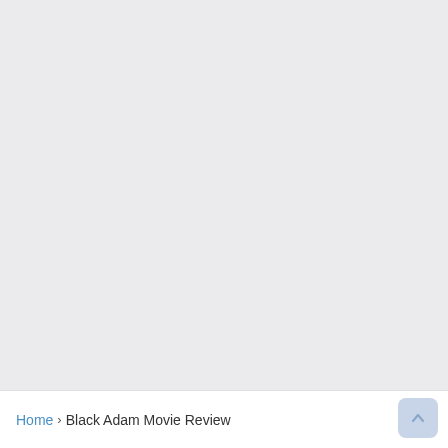[Figure (screenshot): Large blank/empty grey area occupying the upper portion of the page, representing a webpage screenshot with no visible content loaded.]
Home › Black Adam Movie Review